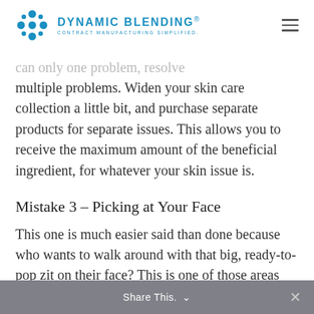DYNAMIC BLENDING. CONTRACT MANUFACTURING SIMPLIFIED.
can only one problem, resolve multiple problems. Widen your skin care collection a little bit, and purchase separate products for separate issues. This allows you to receive the maximum amount of the beneficial ingredient, for whatever your skin issue is.
Mistake 3 – Picking at Your Face
This one is much easier said than done because who wants to walk around with that big, ready-to-pop zit on their face? This is one of those areas that can really benefit you,
Share This.